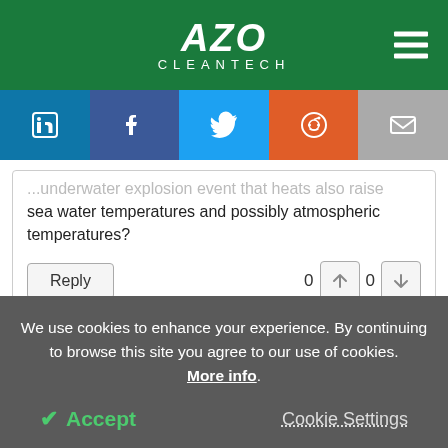AZO CLEANTECH
sea water temperatures and possibly atmospheric temperatures?
Reply  0  0
The opinions expressed here are the views of the writer and do not necessarily reflect the views and opinions of
We use cookies to enhance your experience. By continuing to browse this site you agree to our use of cookies. More info.
Accept   Cookie Settings